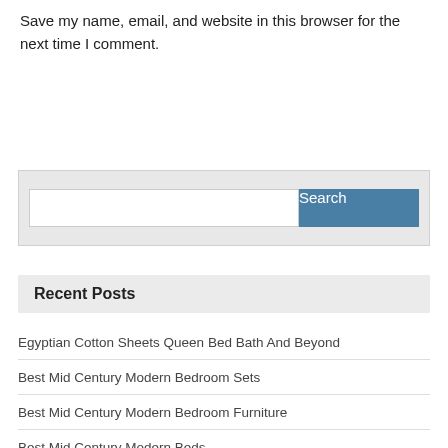Save my name, email, and website in this browser for the next time I comment.
Post Comment
[Figure (screenshot): Search bar with text input and blue Search button on light gray background]
Recent Posts
Egyptian Cotton Sheets Queen Bed Bath And Beyond
Best Mid Century Modern Bedroom Sets
Best Mid Century Modern Bedroom Furniture
Best Mid Century Modern Beds
Is Double Bed Bigger Than King Size Mattress Malaysia